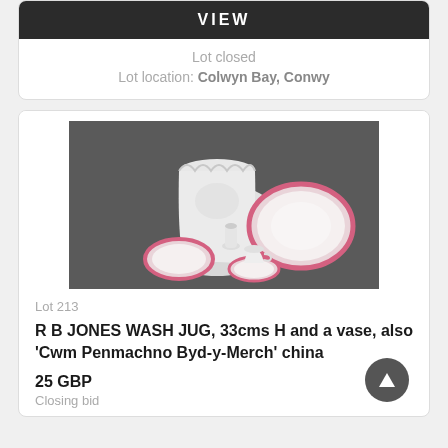VIEW
Lot closed
Lot location: Colwyn Bay, Conwy
[Figure (photo): Photograph of antique china/ceramics: a large ornate white wash jug (33cm H) by R B Jones, a small vase, two round plates/dishes with pink trim, and a small cup and saucer, all arranged on a dark background.]
Lot 213
R B JONES WASH JUG, 33cms H and a vase, also 'Cwm Penmachno Byd-y-Merch' china
25 GBP
Closing bid